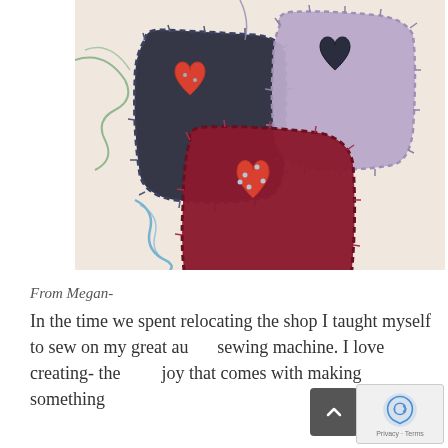[Figure (photo): Photo of three handmade felt heart-shaped sachets/ornaments. One is dark navy/black with an orange-red heart appliqué, one is dark burgundy/maroon with an orange-red heart appliqué and pins sticking in it, and one is lavender/mauve with a dark navy heart appliqué. Blue and green thread/string visible. Items rest on a light background.]
From Megan-
In the time we spent relocating the shop I taught myself to sew on my great aunt's sewing machine. I love creating- the pure joy that comes with making something